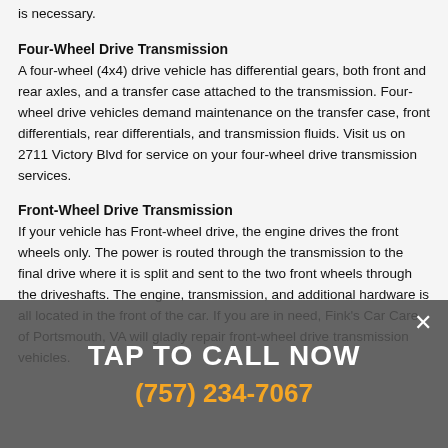is necessary.
Four-Wheel Drive Transmission
A four-wheel (4x4) drive vehicle has differential gears, both front and rear axles, and a transfer case attached to the transmission. Four-wheel drive vehicles demand maintenance on the transfer case, front differentials, rear differentials, and transmission fluids. Visit us on 2711 Victory Blvd for service on your four-wheel drive transmission services.
Front-Wheel Drive Transmission
If your vehicle has Front-wheel drive, the engine drives the front wheels only. The power is routed through the transmission to the final drive where it is split and sent to the two front wheels through the driveshafts. The engine, transmission, and additional hardware is all located in the front of the car. If you are in need, Fink's Car Care of Portsmouth, VA will gladly repair front-wheel drive transmission vehicles.
[Figure (infographic): Call-to-action overlay banner with 'TAP TO CALL NOW' text and phone number (757) 234-7067 in orange, with a close X button, on a dark semi-transparent background.]